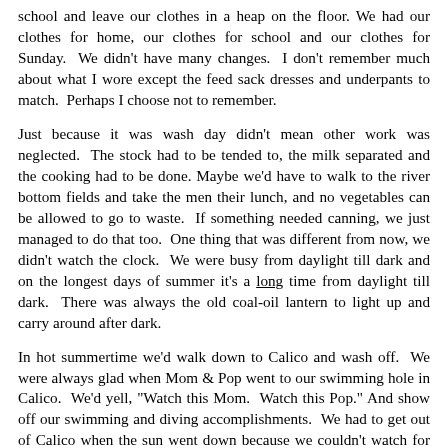school and leave our clothes in a heap on the floor. We had our clothes for home, our clothes for school and our clothes for Sunday. We didn't have many changes. I don't remember much about what I wore except the feed sack dresses and underpants to match. Perhaps I choose not to remember.
Just because it was wash day didn't mean other work was neglected. The stock had to be tended to, the milk separated and the cooking had to be done. Maybe we'd have to walk to the river bottom fields and take the men their lunch, and no vegetables can be allowed to go to waste. If something needed canning, we just managed to do that too. One thing that was different from now, we didn't watch the clock. We were busy from daylight till dark and on the longest days of summer it's a long time from daylight till dark. There was always the old coal-oil lantern to light up and carry around after dark.
In hot summertime we'd walk down to Calico and wash off. We were always glad when Mom & Pop went to our swimming hole in Calico. We'd yell, "Watch this Mom. Watch this Pop." And show off our swimming and diving accomplishments. We had to get out of Calico when the sun went down because we couldn't watch for snakes. In all of